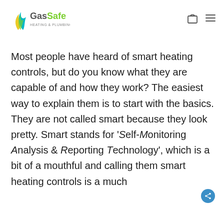GasSafe Heating & Plumbing Services
Most people have heard of smart heating controls, but do you know what they are capable of and how they work? The easiest way to explain them is to start with the basics. They are not called smart because they look pretty. Smart stands for 'Self-Monitoring Analysis & Reporting Technology', which is a bit of a mouthful and calling them smart heating controls is a much